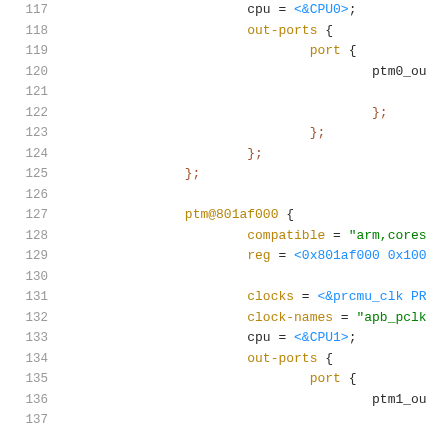Code listing lines 117-137 showing device tree source with ptm@801af000 node configuration including cpu, out-ports, compatible, reg, clocks, clock-names properties